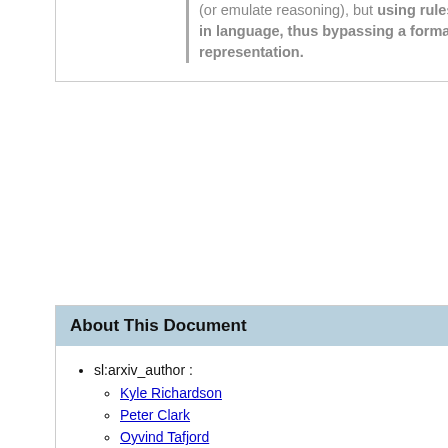(or emulate reasoning), but using rules expressed in language, thus bypassing a formal representation.
About This Document
sl:arxiv_author :
Kyle Richardson
Peter Clark
Oyvind Tafjord
sl:arxiv_firstAuthor : Peter Clark
sl:arxiv_num : 2002.05867
sl:arxiv_published : 2020-02-14T04:23:28Z
sl:arxiv_summary : AI has long pursued the goal of having systems reason over *explicitly provided* knowledge, but building suitable representations has proved challenging. Here we explore whether transformers can similarly learn to reason (or emulate reasoning), but using rules expressed in